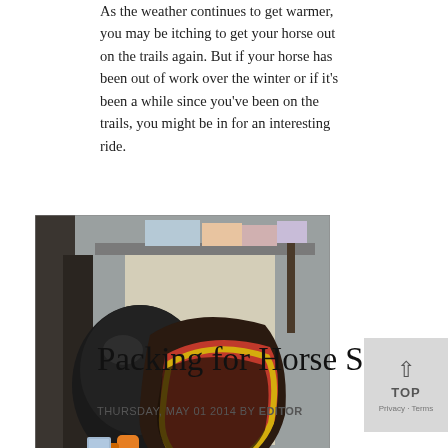As the weather continues to get warmer, you may be itching to get your horse out on the trails again. But if your horse has been out of work over the winter or if it's been a while since you've been on the trails, you might be in for an interesting ride.
[Figure (photo): Photo of a tack room or horse trailer interior showing a black riding helmet, equestrian saddle with colorful blanket lining (red, yellow, black), spray bottle with orange liquid, and shelves with supplies in the background.]
Packing for Horse Shows
THURSDAY, MAY 01 2014 BY EDITOR